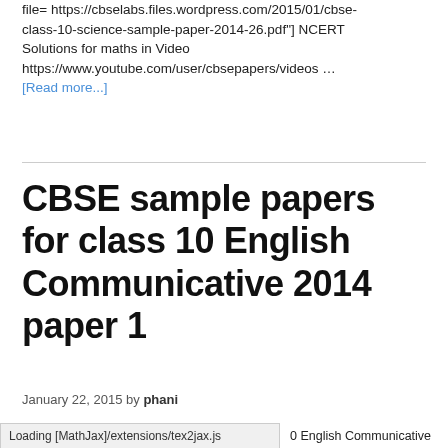file= https://cbselabs.files.wordpress.com/2015/01/cbse-class-10-science-sample-paper-2014-26.pdf"] NCERT Solutions for maths in Video https://www.youtube.com/user/cbsepapers/videos … [Read more...]
CBSE sample papers for class 10 English Communicative 2014 paper 1
January 22, 2015 by phani
Loading [MathJax]/extensions/tex2jax.js
0 English Communicative